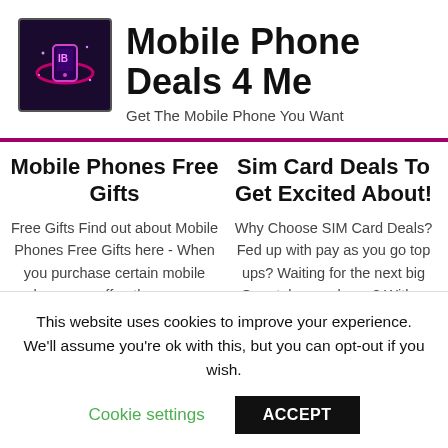[Figure (logo): Mobile Phone Deals 4 Me logo — dark purple background with a stylized phone/controller icon in pink/purple neon style]
Mobile Phone Deals 4 Me
Get The Mobile Phone You Want
Mobile Phones Free Gifts
Free Gifts Find out about Mobile Phones Free Gifts here - When you purchase certain mobile phones on offer, there are a choice of
Sim Card Deals To Get Excited About!
Why Choose SIM Card Deals? Fed up with pay as you go top ups? Waiting for the next big Smartphone release? With a SIM only
This website uses cookies to improve your experience. We'll assume you're ok with this, but you can opt-out if you wish.